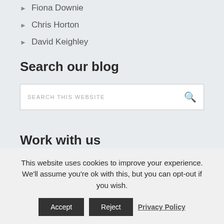Fiona Downie
Chris Horton
David Keighley
Search our blog
SEARCH THIS WEBSITE
Work with us
Find out more....
This website uses cookies to improve your experience. We'll assume you're ok with this, but you can opt-out if you wish.
Accept
Reject
Privacy Policy